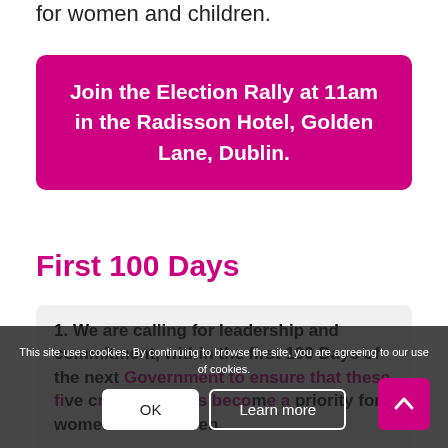for women and children.
Join the Election Rally at 11am in the Radisson Hotel, Golden Lane, Dublin.
First 100 Days
1. We are calling for leadership and commitment, within the first 100 Days of the next Government to ensure that these five crucial actions become a priority for women and children.
This site uses cookies. By continuing to browse the site, you are agreeing to our use of cookies.